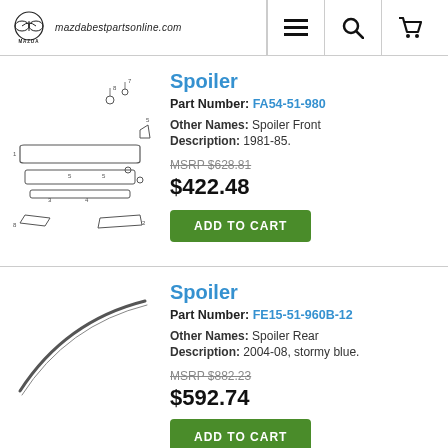mazdabestpartsonline.com
Spoiler
Part Number: FA54-51-980
Other Names: Spoiler Front
Description: 1981-85.
MSRP $628.81
$422.48
ADD TO CART
[Figure (illustration): Exploded parts diagram of a front spoiler/bumper assembly with numbered components]
Spoiler
Part Number: FE15-51-960B-12
Other Names: Spoiler Rear
Description: 2004-08, stormy blue.
MSRP $882.23
$592.74
ADD TO CART
[Figure (illustration): Image of a curved rear spoiler strip]